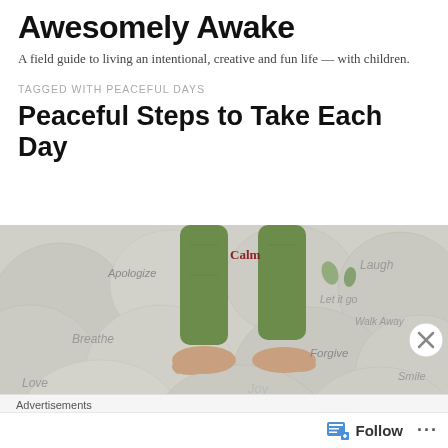Awesomely Awake
A field guide to living an intentional, creative and fun life — with children.
TAGGED WITH PEACEFUL DAYS
Peaceful Steps to Take Each Day
[Figure (photo): Person stepping barefoot across large smooth stone spheres engraved with peaceful words: Apologize, Calm, Laugh, Let it go, Walk Away, Breathe, Forgive, Love, Joy, Peace, Smile]
Advertisements